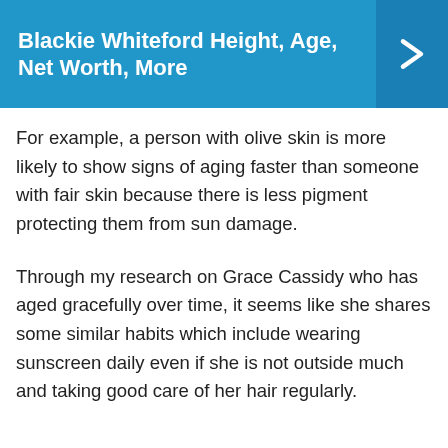Blackie Whiteford Height, Age, Net Worth, More
For example, a person with olive skin is more likely to show signs of aging faster than someone with fair skin because there is less pigment protecting them from sun damage.
Through my research on Grace Cassidy who has aged gracefully over time, it seems like she shares some similar habits which include wearing sunscreen daily even if she is not outside much and taking good care of her hair regularly.